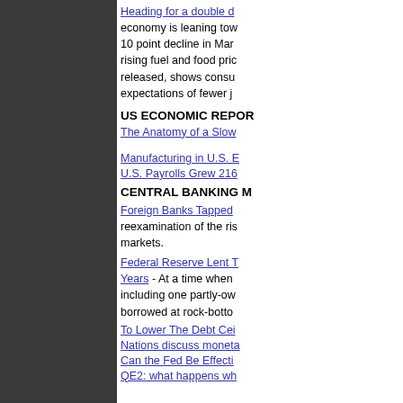Heading for a double d... - economy is leaning tow... 10 point decline in Mar... rising fuel and food pric... released, shows consu... expectations of fewer j...
US ECONOMIC REPOR...
The Anatomy of a Slow...
Manufacturing in U.S. E...
U.S. Payrolls Grew 216...
CENTRAL BANKING M...
Foreign Banks Tapped... - reexamination of the ris... markets.
Federal Reserve Lent T... Years - At a time when... including one partly-ow... borrowed at rock-botto...
To Lower The Debt Cei...
Nations discuss moneta...
Can the Fed Be Effecti...
QE2: what happens wh...